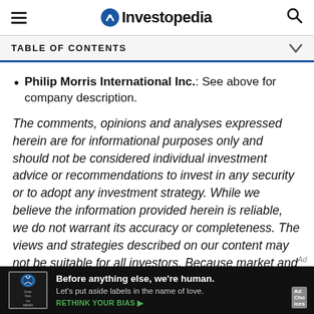Investopedia
TABLE OF CONTENTS
Philip Morris International Inc.: See above for company description.
The comments, opinions and analyses expressed herein are for informational purposes only and should not be considered individual investment advice or recommendations to invest in any security or to adopt any investment strategy. While we believe the information provided herein is reliable, we do not warrant its accuracy or completeness. The views and strategies described on our content may not be suitable for all investors. Because market and
[Figure (other): Ad banner: 'Before anything else, we're human. Let's put aside labels in the name of love. RETHINK YOUR BIAS ▶' with love has no labels logo]